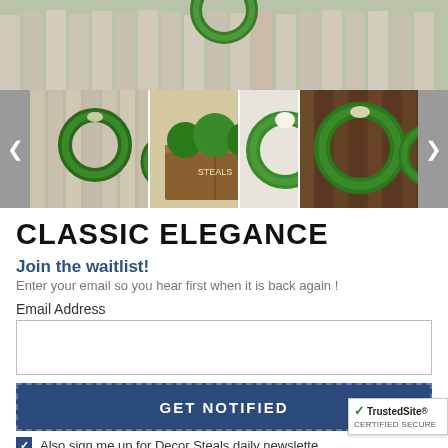[Figure (photo): Hero image showing green wreaths hanging on a weathered wood fence]
[Figure (photo): Thumbnail strip showing multiple product images of preserved boxwood wreaths and arrangements in various settings]
CLASSIC ELEGANCE
Join the waitlist!
Enter your email so you hear first when it is back again !
Email Address
GET NOTIFIED
Also sign me up for Decor Steals daily newsletter